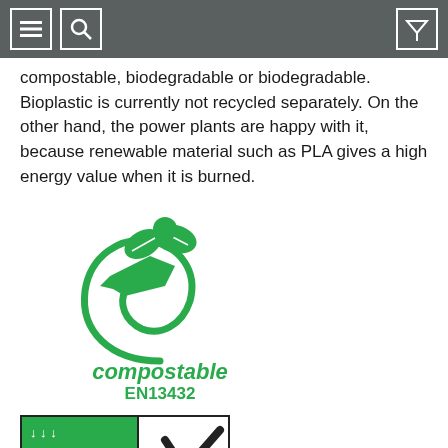[navigation icons: menu, search, filter]
compostable, biodegradable or biodegradable. Bioplastic is currently not recycled separately. On the other hand, the power plants are happy with it, because renewable material such as PLA gives a high energy value when it is burned.
[Figure (logo): Green compostable certification logo with a stylized plant/seedling shape, text 'compostable' in green cursive-style font, and 'EN13432' below in bold green text.]
[Figure (logo): OK compost VINCOTTE certification badge showing green left panel with 'OK compost' text and arrows/flowers, and white right panel with a checkmark and 'VINCOTTE' text.]